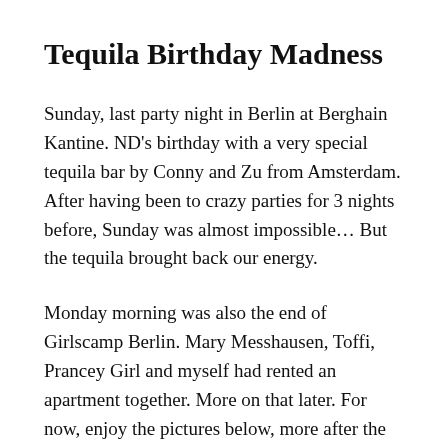Tequila Birthday Madness
Sunday, last party night in Berlin at Berghain Kantine. ND's birthday with a very special tequila bar by Conny and Zu from Amsterdam. After having been to crazy parties for 3 nights before, Sunday was almost impossible... But the tequila brought back our energy.
Monday morning was also the end of Girlscamp Berlin. Mary Messhausen, Toffi, Prancey Girl and myself had rented an apartment together. More on that later. For now, enjoy the pictures below, more after the jump. Even more on